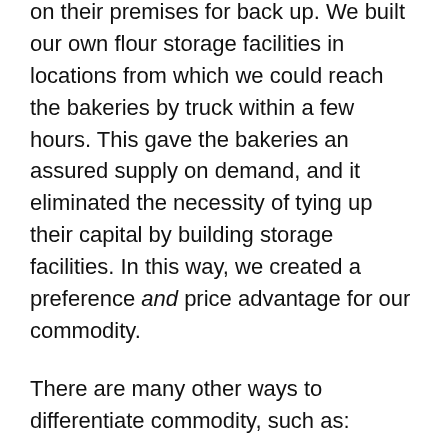on their premises for back up. We built our own flour storage facilities in locations from which we could reach the bakeries by truck within a few hours. This gave the bakeries an assured supply on demand, and it eliminated the necessity of tying up their capital by building storage facilities. In this way, we created a preference and price advantage for our commodity.
There are many other ways to differentiate commodity, such as:
Risk – eliminate or reduce your customers' potential risks